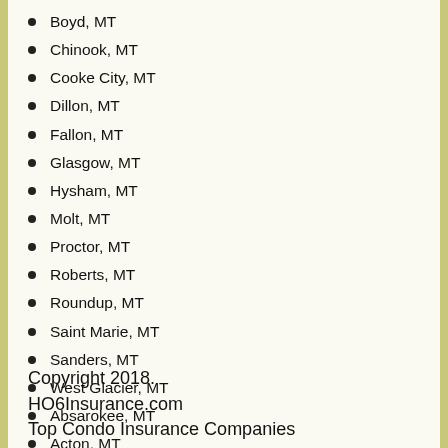Boyd, MT
Chinook, MT
Cooke City, MT
Dillon, MT
Fallon, MT
Glasgow, MT
Hysham, MT
Molt, MT
Proctor, MT
Roberts, MT
Roundup, MT
Saint Marie, MT
Sanders, MT
West Glacier, MT
Absarokee, MT
Acton, MT
Alberton, MT
Copyright 2018.
HO6Insurance.com
Top Condo Insurance Companies